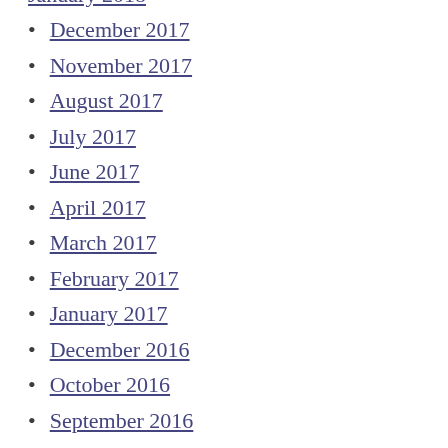January 2018
December 2017
November 2017
August 2017
July 2017
June 2017
April 2017
March 2017
February 2017
January 2017
December 2016
October 2016
September 2016
August 2016
July 2016
June 2016
May 2016
March 2016
January 2016
December 2015